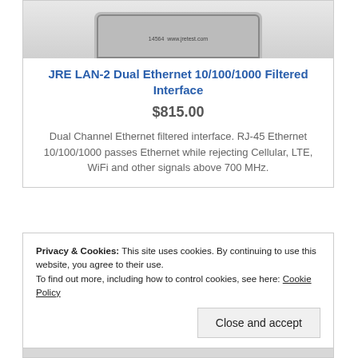[Figure (photo): Product photo of JRE LAN-2 Dual Ethernet Filtered Interface device, showing rounded rectangular hardware module with label and website www.jretest.com]
JRE LAN-2 Dual Ethernet 10/100/1000 Filtered Interface
$815.00
Dual Channel Ethernet filtered interface. RJ-45 Ethernet 10/100/1000 passes Ethernet while rejecting Cellular, LTE, WiFi and other signals above 700 MHz.
Privacy & Cookies: This site uses cookies. By continuing to use this website, you agree to their use. To find out more, including how to control cookies, see here: Cookie Policy
[Figure (photo): Partial product image at bottom showing JRE Filtered Interface label]